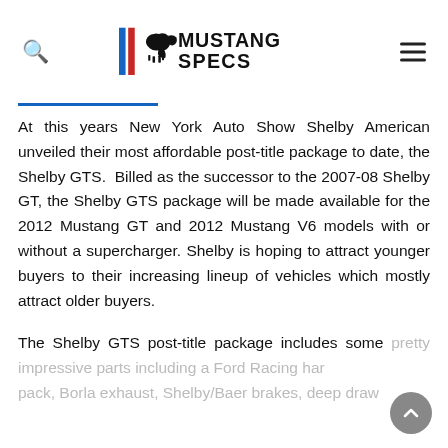Mustang Specs
At this years New York Auto Show Shelby American unveiled their most affordable post-title package to date, the Shelby GTS. Billed as the successor to the 2007-08 Shelby GT, the Shelby GTS package will be made available for the 2012 Mustang GT and 2012 Mustang V6 models with or without a supercharger. Shelby is hoping to attract younger buyers to their increasing lineup of vehicles which mostly attract older buyers.
The Shelby GTS post-title package includes some pretty impressive parts including a Ford Racing har pack, Borla exhaust, Shelby/Baer brakes, deep draw